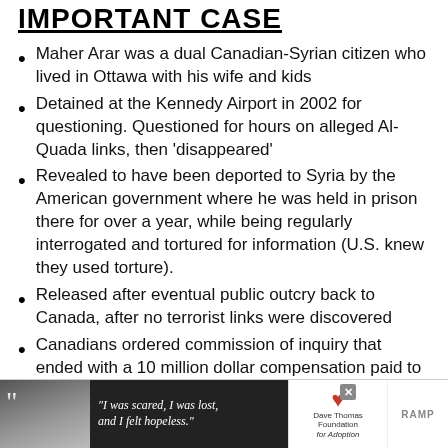IMPORTANT CASE
Maher Arar was a dual Canadian-Syrian citizen who lived in Ottawa with his wife and kids
Detained at the Kennedy Airport in 2002 for questioning. Questioned for hours on alleged Al-Quada links, then ‘disappeared’
Revealed to have been deported to Syria by the American government where he was held in prison there for over a year, while being regularly interrogated and tortured for information (U.S. knew they used torture).
Released after eventual public outcry back to Canada, after no terrorist links were discovered
Canadians ordered commission of inquiry that ended with a 10 million dollar compensation paid to
[Figure (photo): Advertisement banner at bottom of page showing a young woman with quote 'I was scared, I was lost, and I felt hopeless.' with Dave Thomas Foundation for Adoption logo and RAMP branding]